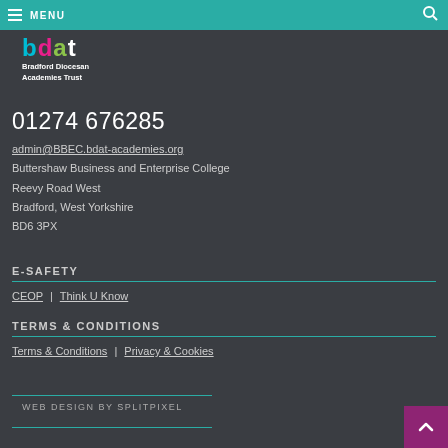MENU
[Figure (logo): bdat Bradford Diocesan Academies Trust logo with coloured letters]
01274 676285
admin@BBEC.bdat-academies.org
Buttershaw Business and Enterprise College
Reevy Road West
Bradford, West Yorkshire
BD6 3PX
E-SAFETY
CEOP | Think U Know
TERMS & CONDITIONS
Terms & Conditions | Privacy & Cookies
WEB DESIGN BY SPLITPIXEL